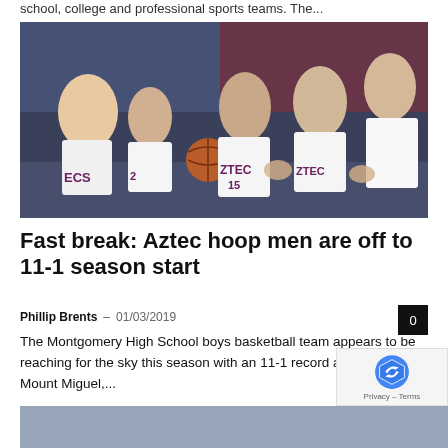school, college and professional sports teams. The...
[Figure (photo): Montgomery High School Aztec boys basketball team players in white uniforms clapping hands, in a gymnasium with blue and red bleachers in background]
Fast break: Aztec hoop men are off to 11-1 season start
Phillip Brents – 01/03/2019
The Montgomery High School boys basketball team appears to be reaching for the sky this season with an 11-1 record after defeating Mount Miguel,...
[Figure (photo): Partial bottom image, partially visible]